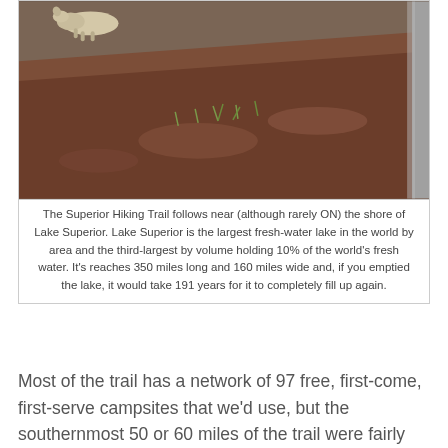[Figure (photo): Outdoor photograph showing a reddish-brown earthen slope or hillside with sparse green grass shoots emerging. A light-colored animal (possibly a goat or deer) is visible at the top left of the frame near the edge.]
The Superior Hiking Trail follows near (although rarely ON) the shore of Lake Superior. Lake Superior is the largest fresh-water lake in the world by area and the third-largest by volume holding 10% of the world's fresh water. It's reaches 350 miles long and 160 miles wide and, if you emptied the lake, it would take 191 years for it to completely fill up again.
Most of the trail has a network of 97 free, first-come, first-serve campsites that we'd use, but the southernmost 50 or 60 miles of the trail were fairly new and had no such facilities. A "traditional" thru-hike of the SHT, therefore, doesn't include this section while a "total" thru-hike does. But to legally complete a "total" thru-hike--which is what I wanted to do--we needed to find accommodations near the trail and a way to get to and from our starting and ending points each day.
We agreed to meet up in Duluth on May 30th, and I made a